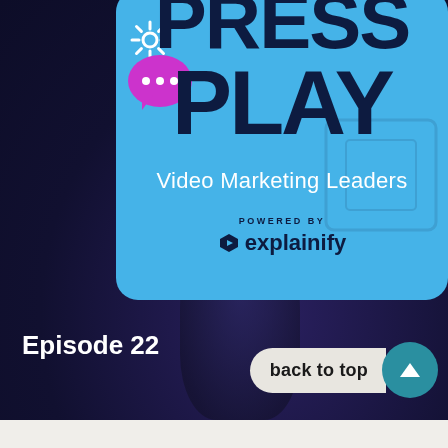[Figure (logo): Press Play Video Marketing Leaders podcast cover art on blue card with gear icon, chat bubble, and Explainify branding]
Episode 22
back to top